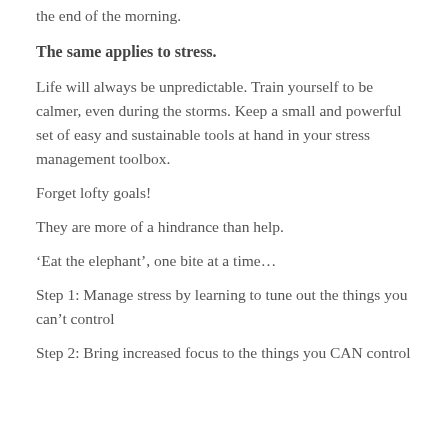the end of the morning.
The same applies to stress.
Life will always be unpredictable. Train yourself to be calmer, even during the storms. Keep a small and powerful set of easy and sustainable tools at hand in your stress management toolbox.
Forget lofty goals!
They are more of a hindrance than help.
‘Eat the elephant’, one bite at a time…
Step 1: Manage stress by learning to tune out the things you can’t control
Step 2: Bring increased focus to the things you CAN control